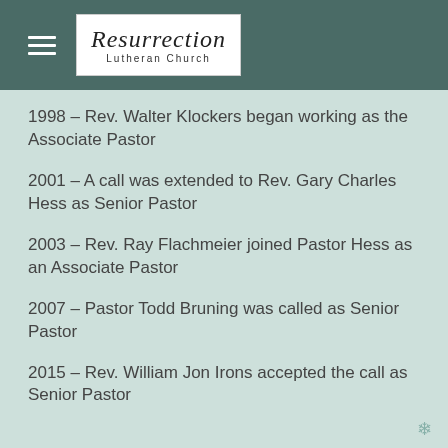Resurrection Lutheran Church
1998 – Rev. Walter Klockers began working as the Associate Pastor
2001 – A call was extended to Rev. Gary Charles Hess as Senior Pastor
2003 – Rev. Ray Flachmeier joined Pastor Hess as an Associate Pastor
2007 – Pastor Todd Bruning was called as Senior Pastor
2015 – Rev. William Jon Irons accepted the call as Senior Pastor